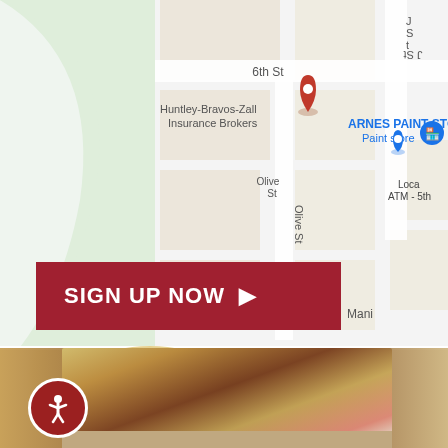[Figure (map): Google Maps screenshot showing Huntley-Bravos-Zall Insurance Brokers location with nearby landmarks including ARNES PAINT STORE, 6th St, J St, Olive St, and Local ATM - 5th]
SIGN UP NOW ▶
[Figure (photo): Blurred photo of two people, a blonde woman and a man in white shirt, with a Pepsi cup in the foreground]
[Figure (other): Accessibility icon - circle with human figure]